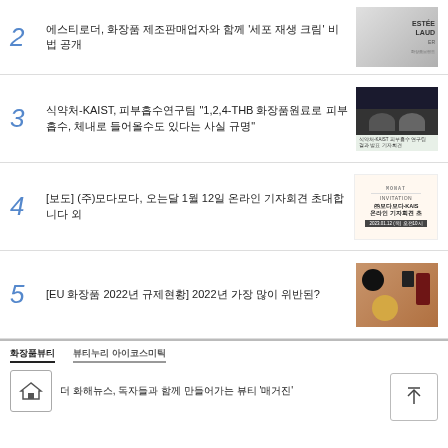2 에스티로더, 화장품 제조판매업자와 함께 '세포 재생 크림' 비법 공개
3 식약처-KAIST, 피부흡수연구팀 "1,2,4-THB 화장품원료로 피부 흡수, 체내로 들어올수도 있다는 사실 규명"
4 [보도] (주)모다모다, 오는달 1월 12일 온라인 기자회견 초대합니다 외
5 [EU 화장품 2022년 규제현황] 2022년 가장 많이 위반된?
화장품뷰티 뷰티누리 아이코스미틱
더 화해뉴스, 독자들과 함께 만들어가는 뷰티 '매거진'